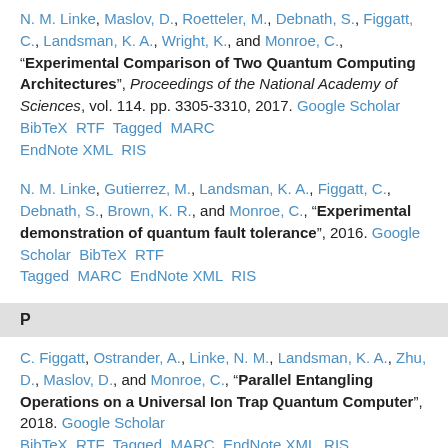N. M. Linke, Maslov, D., Roetteler, M., Debnath, S., Figgatt, C., Landsman, K. A., Wright, K., and Monroe, C., "Experimental Comparison of Two Quantum Computing Architectures", Proceedings of the National Academy of Sciences, vol. 114. pp. 3305-3310, 2017. Google Scholar BibTeX RTF Tagged MARC EndNote XML RIS
N. M. Linke, Gutierrez, M., Landsman, K. A., Figgatt, C., Debnath, S., Brown, K. R., and Monroe, C., "Experimental demonstration of quantum fault tolerance", 2016. Google Scholar BibTeX RTF Tagged MARC EndNote XML RIS
P
C. Figgatt, Ostrander, A., Linke, N. M., Landsman, K. A., Zhu, D., Maslov, D., and Monroe, C., "Parallel Entangling Operations on a Universal Ion Trap Quantum Computer", 2018. Google Scholar BibTeX RTF Tagged MARC EndNote XML RIS
D. Zhu, Johri, S., Nguyen, N. H., C. Alderete, H., Landsman, K. A., Linke, N. M., Monroe, C., and Matsuura, A. Y., "Probing many-body localization on a noisy quantum computer", 2020. Google Scholar BibTeX RTF Tagged MARC EndNote XML RIS